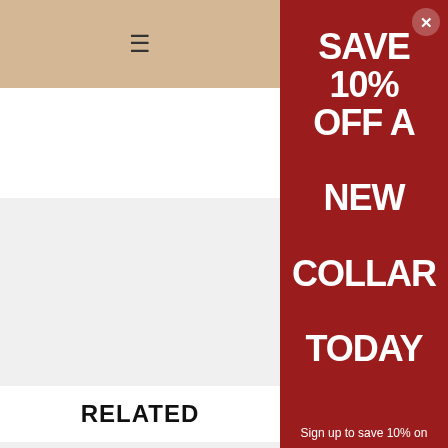[Figure (screenshot): Website header with hamburger menu icon on tan/beige background]
RELATED
[Figure (photo): Red and black plaid dog collar product photo with PWSTV branding]
$12.99
[Figure (infographic): Dark red promotional modal overlay with text: SAVE 10% OFF A NEW COLLAR TODAY. Sign up to save 10% on]
SAVE 10% OFF A NEW COLLAR TODAY
Sign up to save 10% on